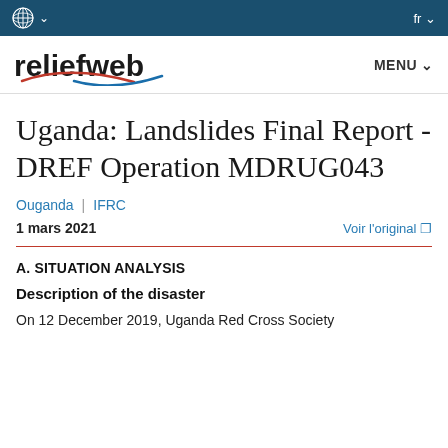reliefweb | MENU | fr
Uganda: Landslides Final Report - DREF Operation MDRUG043
Ouganda | IFRC
1 mars 2021   Voir l'original
A. SITUATION ANALYSIS
Description of the disaster
On 12 December 2019, Uganda Red Cross Society